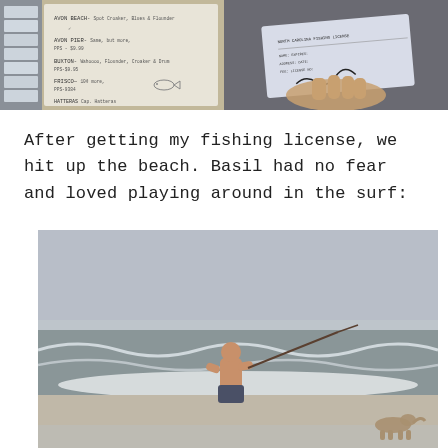[Figure (photo): Left photo: A whiteboard or sign showing beach/pier fishing locations including AVON BEACH, AVON PIER, BUXTON, FRISCO, HATTERAS with notes about fishing spots. A rack of pamphlets/papers visible on the left side.]
[Figure (photo): Right photo: A close-up of a hand holding a fishing license document with text and signatures visible.]
After getting my fishing license, we hit up the beach. Basil had no fear and loved playing around in the surf:
[Figure (photo): A shirtless man standing in the surf at the beach holding a fishing rod, with ocean waves behind him and what appears to be a dog in the lower right area of the image.]